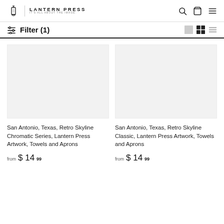LANTERN PRESS — IT'S ALL ABOUT THE IMAGE.
Filter (1)
San Antonio, Texas, Retro Skyline Chromatic Series, Lantern Press Artwork, Towels and Aprons
from $ 14.99
San Antonio, Texas, Retro Skyline Classic, Lantern Press Artwork, Towels and Aprons
from $ 14.99